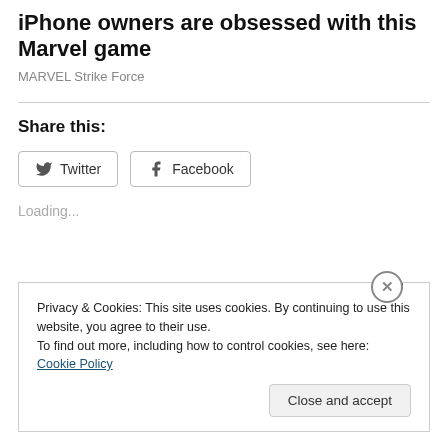iPhone owners are obsessed with this Marvel game
MARVEL Strike Force
Share this:
Twitter   Facebook
Loading...
Privacy & Cookies: This site uses cookies. By continuing to use this website, you agree to their use.
To find out more, including how to control cookies, see here: Cookie Policy
Close and accept